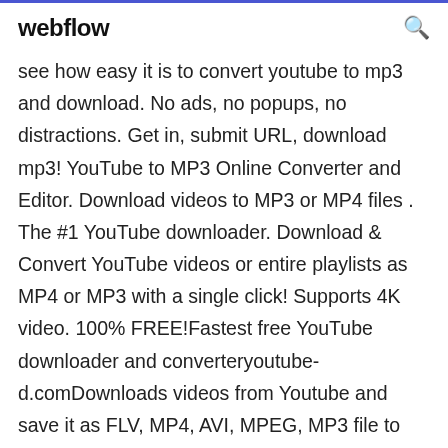webflow
see how easy it is to convert youtube to mp3 and download. No ads, no popups, no distractions. Get in, submit URL, download mp3! YouTube to MP3 Online Converter and Editor. Download videos to MP3 or MP4 files . The #1 YouTube downloader. Download & Convert YouTube videos or entire playlists as MP4 or MP3 with a single click! Supports 4K video. 100% FREE!Fastest free YouTube downloader and converteryoutube-d.comDownloads videos from Youtube and save it as FLV, MP4, AVI, MPEG, MP3 file to your local Computer, Laptop, iPad, iPod, PSP, iPhone, Cell Phone, DVD or MP3 player